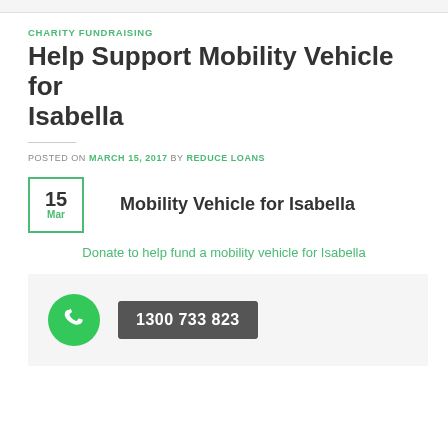CHARITY FUNDRAISING
Help Support Mobility Vehicle for Isabella
POSTED ON MARCH 15, 2017 BY REDUCE LOANS
Mobility Vehicle for Isabella
Donate to help fund a mobility vehicle for Isabella
[Figure (infographic): Phone icon (green circle with white phone handset) next to a dark grey button showing phone number 1300 733 823]